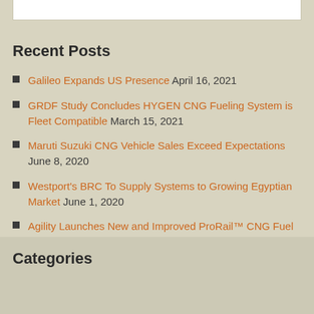Recent Posts
Galileo Expands US Presence April 16, 2021
GRDF Study Concludes HYGEN CNG Fueling System is Fleet Compatible March 15, 2021
Maruti Suzuki CNG Vehicle Sales Exceed Expectations June 8, 2020
Westport's BRC To Supply Systems to Growing Egyptian Market June 1, 2020
Agility Launches New and Improved ProRail™ CNG Fuel Systems May 30, 2020
Categories